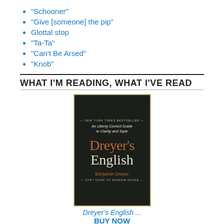"Schooner"
"Give [someone] the pip"
Glottal stop
"Ta-Ta"
"Can't Be Arsed"
"Knob"
WHAT I'M READING, WHAT I'VE READ
[Figure (illustration): Book cover of Dreyer's English by Benjamin Dreyer - An Utterly Correct Guide to Clarity and Style, dark cover with gold border]
Dreyer's English ...
BUY NOW
[Figure (illustration): Book cover of Merriam-Webster's Dictionary of English, blue cover with white circular logo]